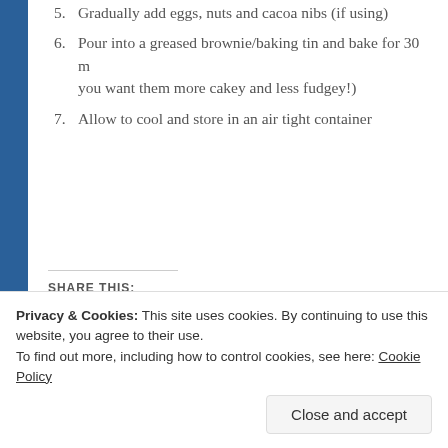5. Gradually add eggs, nuts and cacoa nibs (if using)
6. Pour into a greased brownie/baking tin and bake for 30 m... you want them more cakey and less fudgey!)
7. Allow to cool and store in an air tight container
SHARE THIS:
Twitter  Facebook
Privacy & Cookies: This site uses cookies. By continuing to use this website, you agree to their use.
To find out more, including how to control cookies, see here: Cookie Policy
Close and accept